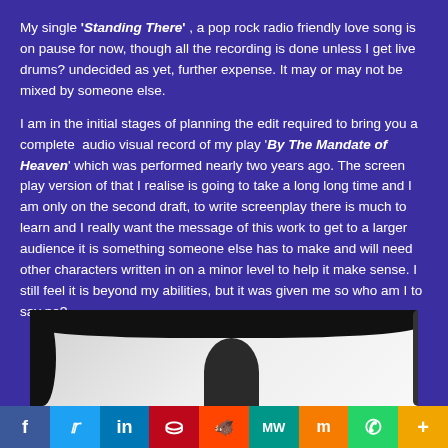My single 'Standing There' , a pop rock radio friendly love song is on pause for now, though all the recording is done unless I get live drums? undecided as yet, further expense. It may or may not be mixed by someone else.
I am in the initial stages of planning the edit required to bring you a complete  audio visual record of my play 'By The Mandate of Heaven' which was performed nearly two years ago. The screen play version of that I realise is going to take a long long time and I am only on the second draft, to write screenplay there is much to learn and I really want the message of this work to get to a larger audience it is something someone else has to make and will need other characters written in on a minor level to help it make sense. I still feel it is beyond my abilities, but it was given me so who am I to say no?
[Figure (photo): A partially visible photo of a person (silhouette/dark figure) in what appears to be an indoor setting with white ceiling. The photo has heavy black smudging/vignetting on the top and left edges.]